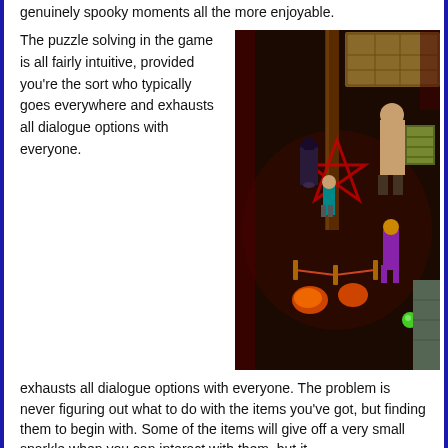genuinely spooky moments all the more enjoyable.
The puzzle solving in the game is all fairly intuitive, provided you're the sort who typically goes everywhere and exhausts all dialogue options with everyone. The problem is never figuring out what to do with the items you've got, but finding them to begin with. Some of the items will give off a very small sparkle when you can interact with them, but it...
[Figure (screenshot): A dark isometric video game screenshot showing characters in a sinister carnival/circus environment with a pentagram on the ground, figures standing around, and a fenced area.]